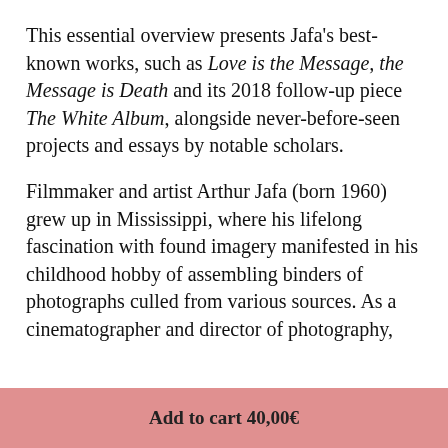This essential overview presents Jafa's best-known works, such as Love is the Message, the Message is Death and its 2018 follow-up piece The White Album, alongside never-before-seen projects and essays by notable scholars.
Filmmaker and artist Arthur Jafa (born 1960) grew up in Mississippi, where his lifelong fascination with found imagery manifested in his childhood hobby of assembling binders of photographs culled from various sources. As a cinematographer and director of photography,
Add to cart 40,00€